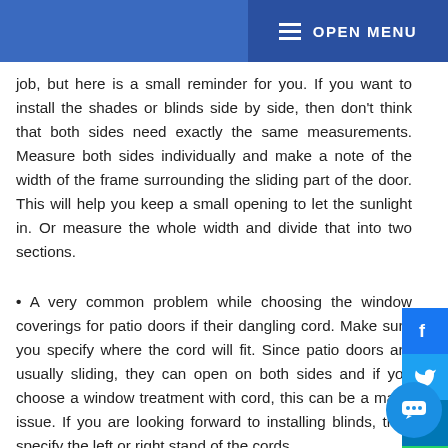OPEN MENU
job, but here is a small reminder for you. If you want to install the shades or blinds side by side, then don't think that both sides need exactly the same measurements. Measure both sides individually and make a note of the width of the frame surrounding the sliding part of the door. This will help you keep a small opening to let the sunlight in. Or measure the whole width and divide that into two sections.
A very common problem while choosing the window coverings for patio doors if their dangling cord. Make sure you specify where the cord will fit. Since patio doors are usually sliding, they can open on both sides and if you choose a window treatment with cord, this can be a major issue. If you are looking forward to installing blinds, then specify the left or right stand of the cords.